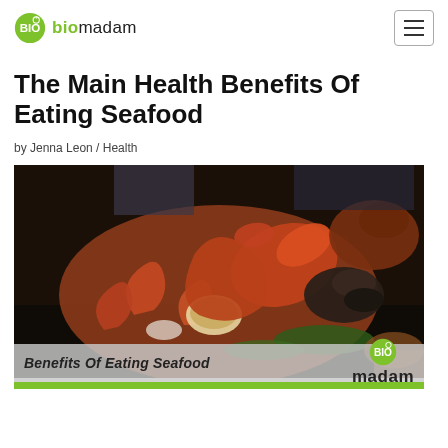biomadam
The Main Health Benefits Of Eating Seafood
by Jenna Leon / Health
[Figure (photo): A large platter of various seafood including lobster, shrimp, clams, mussels, and crab served on a table. Overlay text at bottom reads 'Benefits Of Eating Seafood' with the biomadam logo and 'madam' branding.]